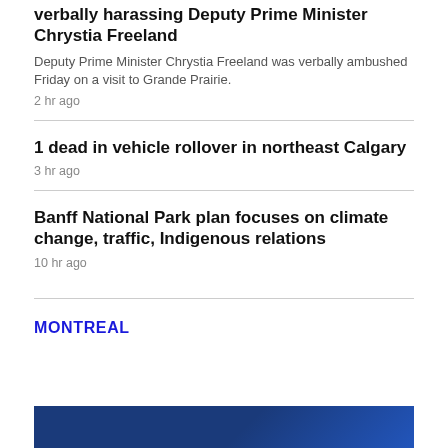verbally harassing Deputy Prime Minister Chrystia Freeland
Deputy Prime Minister Chrystia Freeland was verbally ambushed Friday on a visit to Grande Prairie.
2 hr ago
1 dead in vehicle rollover in northeast Calgary
3 hr ago
Banff National Park plan focuses on climate change, traffic, Indigenous relations
10 hr ago
MONTREAL
[Figure (photo): Blue-toned image strip at bottom of page, partial view of a photo related to Montreal news]